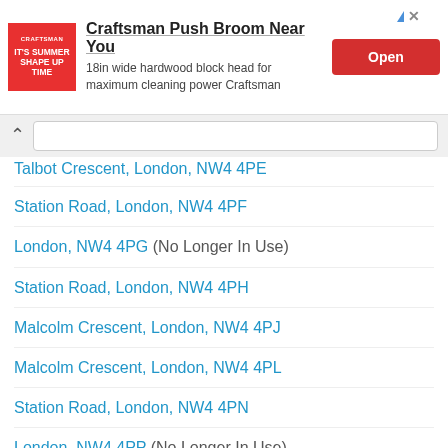[Figure (screenshot): Advertisement banner for Craftsman Push Broom with red brand icon, title, description, and Open button]
Talbot Crescent, London, NW4 4PE
Station Road, London, NW4 4PF
London, NW4 4PG (No Longer In Use)
Station Road, London, NW4 4PH
Malcolm Crescent, London, NW4 4PJ
Malcolm Crescent, London, NW4 4PL
Station Road, London, NW4 4PN
London, NW4 4PP (No Longer In Use)
Station Road, London, NW4 4PQ
London, NW4 4PR (No Longer In Use)
London, NW4 4PS (No Longer In Use)
Station Road, London, NW4 4PT